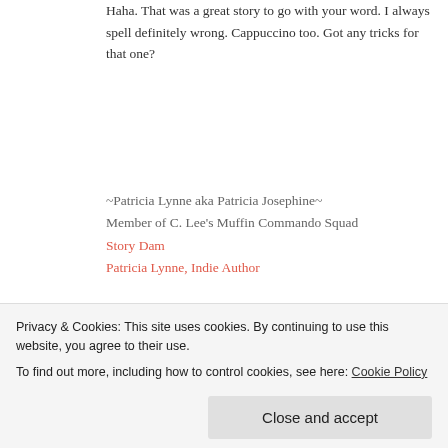Haha. That was a great story to go with your word. I always spell definitely wrong. Cappuccino too. Got any tricks for that one?
~Patricia Lynne aka Patricia Josephine~ Member of C. Lee's Muffin Commando Squad
Story Dam
Patricia Lynne, Indie Author
★ Liked by 1 person
REPLY
Sue Archer says:
Privacy & Cookies: This site uses cookies. By continuing to use this website, you agree to their use.
To find out more, including how to control cookies, see here: Cookie Policy
Close and accept
this a regular blog feature in future. If I